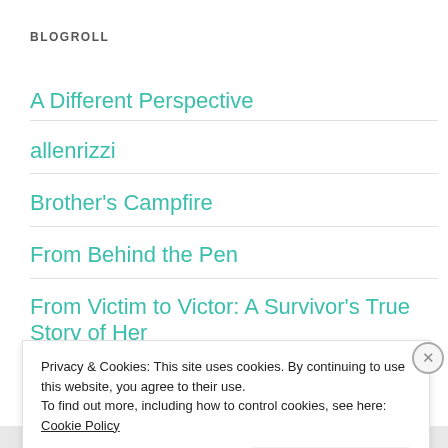BLOGROLL
A Different Perspective
allenrizzi
Brother's Campfire
From Behind the Pen
From Victim to Victor: A Survivor's True Story of Her
Privacy & Cookies: This site uses cookies. By continuing to use this website, you agree to their use.
To find out more, including how to control cookies, see here: Cookie Policy
Close and accept